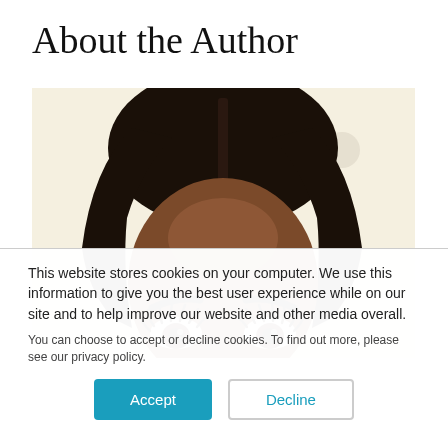About the Author
[Figure (illustration): Illustrated portrait of a Black woman with long dark hair, showing the top portion of her face including her eyes, eyebrows, and forehead against a light cream/beige background.]
This website stores cookies on your computer. We use this information to give you the best user experience while on our site and to help improve our website and other media overall.
You can choose to accept or decline cookies. To find out more, please see our privacy policy.
Accept
Decline